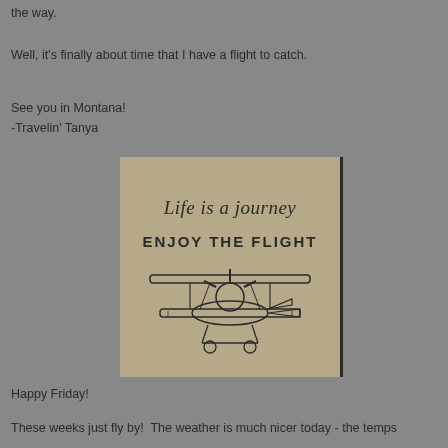the way.
Well, it's finally about time that I have a flight to catch.
See you in Montana!
-Travelin' Tanya
[Figure (illustration): Vintage biplane illustration with script text 'Life is a journey' and block text 'ENJOY THE FLIGHT' on a tan/khaki background]
Happy Friday!
These weeks just fly by!  The weather is much nicer today - the temps